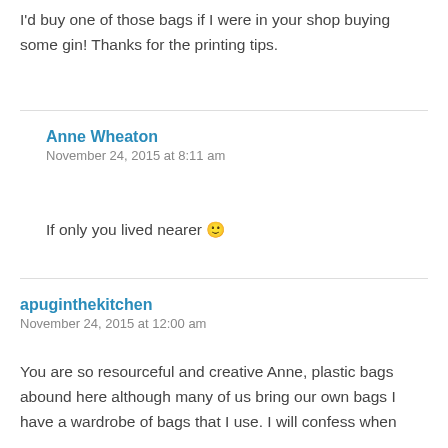I'd buy one of those bags if I were in your shop buying some gin! Thanks for the printing tips.
Anne Wheaton
November 24, 2015 at 8:11 am
If only you lived nearer 🙂
apuginthekitchen
November 24, 2015 at 12:00 am
You are so resourceful and creative Anne, plastic bags abound here although many of us bring our own bags I have a wardrobe of bags that I use. I will confess when